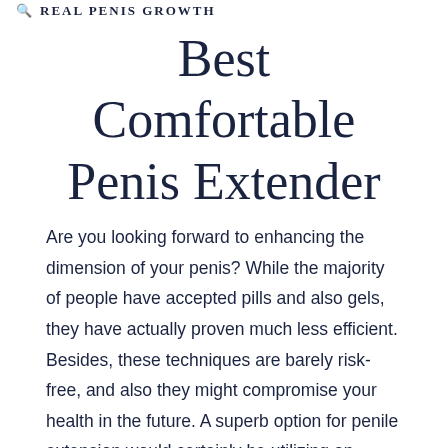REAL Penis Growth
Best Comfortable Penis Extender
Are you looking forward to enhancing the dimension of your penis? While the majority of people have accepted pills and also gels, they have actually proven much less efficient. Besides, these techniques are barely risk-free, and also they might compromise your health in the future. A superb option for penile extension would certainly be utilizing an expansion tool. Selecting an ideal device